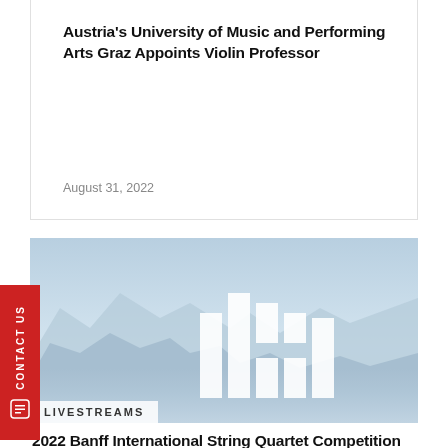Austria's University of Music and Performing Arts Graz Appoints Violin Professor
August 31, 2022
[Figure (photo): Mountain landscape with misty blue sky and white bar chart graphic overlay]
LIVESTREAMS
2022 Banff International String Quartet Competition